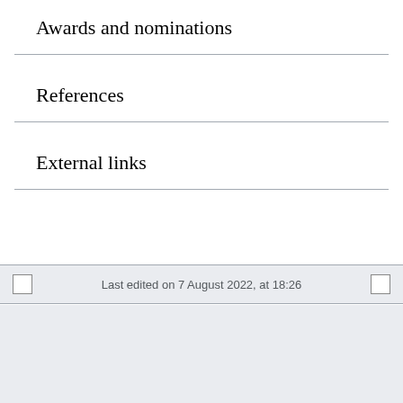Awards and nominations
References
External links
Last edited on 7 August 2022, at 18:26